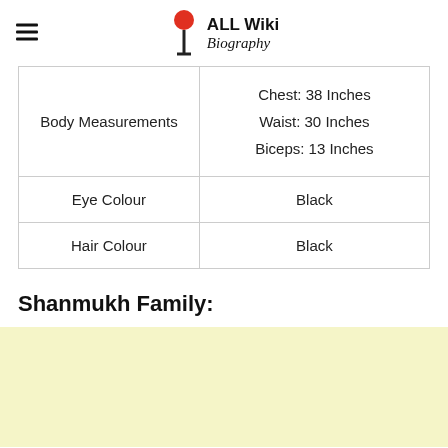ALL Wiki Biography
| Body Measurements | Chest: 38 Inches
Waist: 30 Inches
Biceps: 13 Inches |
| Eye Colour | Black |
| Hair Colour | Black |
Shanmukh Family: